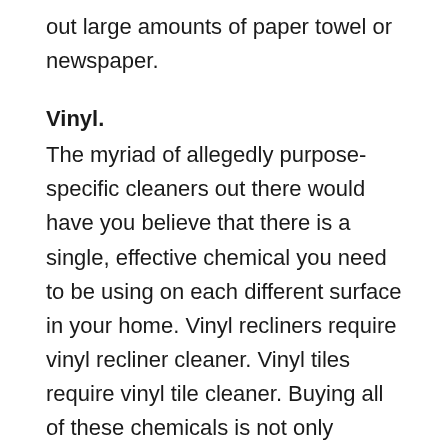out large amounts of paper towel or newspaper.
Vinyl.
The myriad of allegedly purpose-specific cleaners out there would have you believe that there is a single, effective chemical you need to be using on each different surface in your home. Vinyl recliners require vinyl recliner cleaner. Vinyl tiles require vinyl tile cleaner. Buying all of these chemicals is not only economically inefficient, but definitely not green. Pure lemon juice is an effective vinyl cleaner, regardless of the surface.